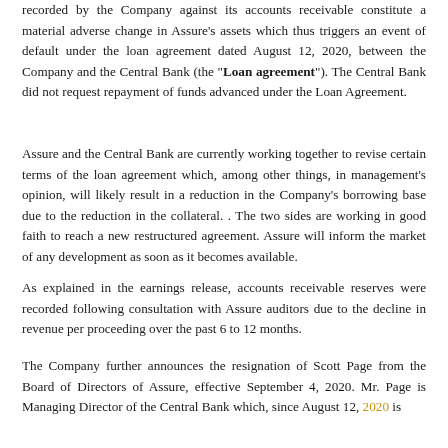recorded by the Company against its accounts receivable constitute a material adverse change in Assure's assets which thus triggers an event of default under the loan agreement dated August 12, 2020, between the Company and the Central Bank (the "Loan agreement"). The Central Bank did not request repayment of funds advanced under the Loan Agreement.
Assure and the Central Bank are currently working together to revise certain terms of the loan agreement which, among other things, in management's opinion, will likely result in a reduction in the Company's borrowing base due to the reduction in the collateral. . The two sides are working in good faith to reach a new restructured agreement. Assure will inform the market of any development as soon as it becomes available.
As explained in the earnings release, accounts receivable reserves were recorded following consultation with Assure auditors due to the decline in revenue per proceeding over the past 6 to 12 months.
The Company further announces the resignation of Scott Page from the Board of Directors of Assure, effective September 4, 2020. Mr. Page is Managing Director of the Central Bank which, since August 12, 2020 is